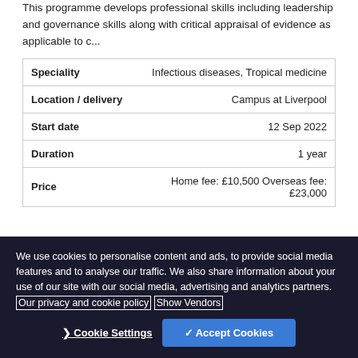This programme develops professional skills including leadership and governance skills along with critical appraisal of evidence as applicable to c...
| Field | Value |
| --- | --- |
| Speciality | Infectious diseases, Tropical medicine |
| Location / delivery | Campus at Liverpool |
| Start date | 12 Sep 2022 |
| Duration | 1 year |
| Price | Home fee: £10,500 Overseas fee: £23,000 |
We use cookies to personalise content and ads, to provide social media features and to analyse our traffic. We also share information about your use of our site with our social media, advertising and analytics partners. Our privacy and cookie policy Show Vendors